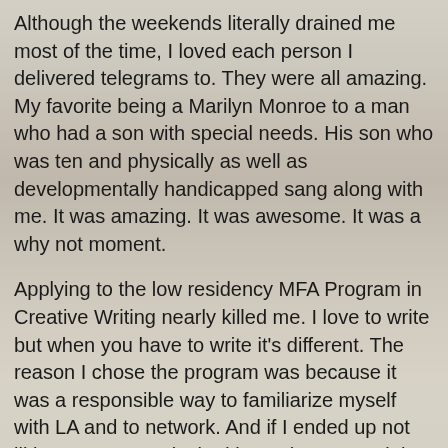Although the weekends literally drained me most of the time, I loved each person I delivered telegrams to. They were all amazing. My favorite being a Marilyn Monroe to a man who had a son with special needs. His son who was ten and physically as well as developmentally handicapped sang along with me. It was amazing. It was awesome. It was a why not moment.
Applying to the low residency MFA Program in Creative Writing nearly killed me. I love to write but when you have to write it's different. The reason I chose the program was because it was a responsible way to familiarize myself with LA and to network. And if I ended up not liking LA I am not locked into a lease. Straight away I loved the people I spoke to, and because of the program model I don't have to put my career on hold and can tour. They just own me for 10 solid days straight each semester. And they love writing as much as I do.
As for the line of merch, that is the coolest and craziest thing I think I have done to date. Yes, I have a gift shop. Yes, it is